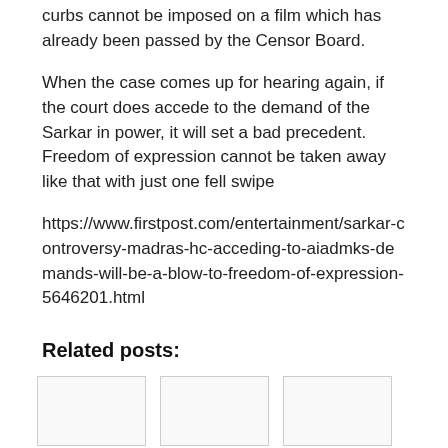curbs cannot be imposed on a film which has already been passed by the Censor Board.
When the case comes up for hearing again, if the court does accede to the demand of the Sarkar in power, it will set a bad precedent. Freedom of expression cannot be taken away like that with just one fell swipe
https://www.firstpost.com/entertainment/sarkar-controversy-madras-hc-acceding-to-aiadmks-demands-will-be-a-blow-to-freedom-of-expression-5646201.html
Related posts:
[Figure (other): Three placeholder image boxes for related posts]